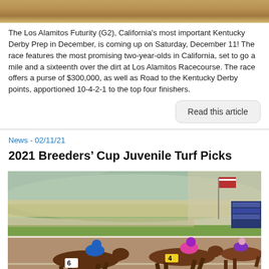[Figure (photo): Top cropped portion of horse racing photo]
The Los Alamitos Futurity (G2), California's most important Kentucky Derby Prep in December, is coming up on Saturday, December 11! The race features the most promising two-year-olds in California, set to go a mile and a sixteenth over the dirt at Los Alamitos Racecourse. The race offers a purse of $300,000, as well as Road to the Kentucky Derby points, apportioned 10-4-2-1 to the top four finishers.
Read this article
News - 02/11/21
2021 Breeders' Cup Juvenile Turf Picks
[Figure (photo): Horse race photo showing horses numbered 6 and 4 racing at a dirt/turf track with jockeys in blue and pink/purple silks, green hills and American flag in background, crowd visible]